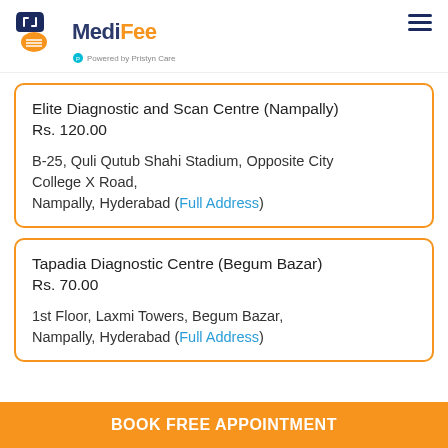MediFee - Powered by Pristyn Care
Elite Diagnostic and Scan Centre (Nampally)
Rs. 120.00

B-25, Quli Qutub Shahi Stadium, Opposite City College X Road,
Nampally, Hyderabad (Full Address)
Tapadia Diagnostic Centre (Begum Bazar)
Rs. 70.00

1st Floor, Laxmi Towers, Begum Bazar,
Nampally, Hyderabad (Full Address)
BOOK FREE APPOINTMENT